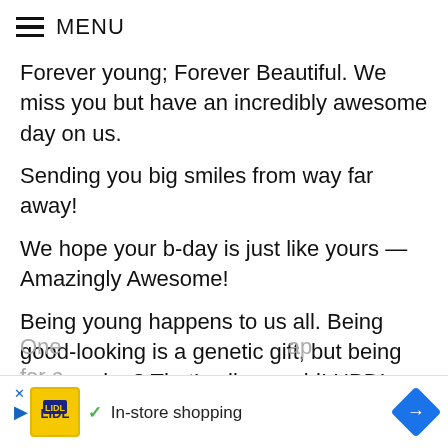MENU
Forever young; Forever Beautiful. We miss you but have an incredibly awesome day on us.
Sending you big smiles from way far away!
We hope your b-day is just like yours — Amazingly Awesome!
Being young happens to us all. Being good-looking is a genetic gift, but being so amazing? That's all you, girl! HBD!
One … ap for c…
[Figure (screenshot): Advertisement banner: Lidl logo icon, play button, X button, checkmark with 'In-store shopping' text, blue diamond arrow navigation icon]